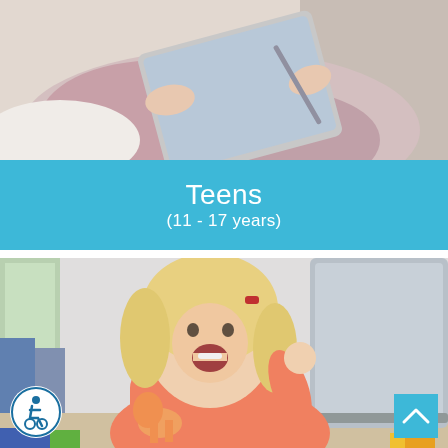[Figure (photo): Person holding a tablet device, wearing pink/mauve clothing, cropped view from above]
Teens
(11 - 17 years)
[Figure (photo): Young smiling toddler girl with blonde hair and a red hair clip, wearing a pink/coral shirt, laughing excitedly in front of a laptop, holding a small orange dinosaur toy. Colorful toys visible in the foreground.]